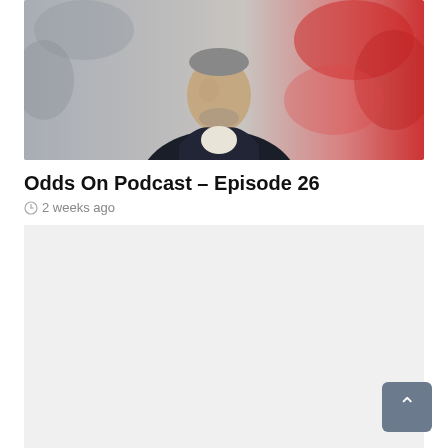[Figure (photo): A man in a dark jacket and light shirt, appearing to be a football manager or coach, with a blurred red and white background crowd behind him.]
Odds On Podcast – Episode 26
2 weeks ago
[Figure (photo): A light grey placeholder image for the next podcast episode.]
Odds On Podcast – Episode 25